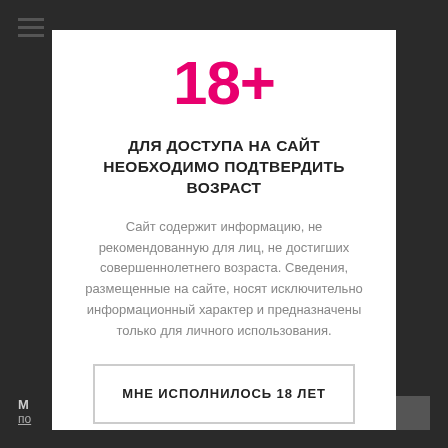☰
18+
ДЛЯ ДОСТУПА НА САЙТ НЕОБХОДИМО ПОДТВЕРДИТЬ ВОЗРАСТ
Сайт содержит информацию, не рекомендованную для лиц, не достигших совершеннолетнего возраста. Сведения, размещенные на сайте, носят исключительно информационный характер и предназначены только для личного использования.
МНЕ ИСПОЛНИЛОСЬ 18 ЛЕТ